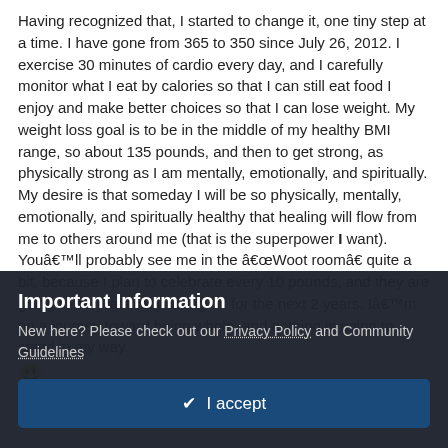Having recognized that, I started to change it, one tiny step at a time. I have gone from 365 to 350 since July 26, 2012. I exercise 30 minutes of cardio every day, and I carefully monitor what I eat by calories so that I can still eat food I enjoy and make better choices so that I can lose weight. My weight loss goal is to be in the middle of my healthy BMI range, so about 135 pounds, and then to get strong, as physically strong as I am mentally, emotionally, and spiritually. My desire is that someday I will be so physically, mentally, emotionally, and spiritually healthy that healing will flow from me to others around me (that is the superpower I want).
Youâ€™ll probably see me in the â€œWoot roomâ€ quite a bit, because I plan to celebrate every 10 pounds, and they are going to be practically falling off for the next 2 years. Iâ€™m on a journey toward being whole, and nothing is going to stand in my way.
Important Information
New here? Please check out our Privacy Policy and Community Guidelines
✔ I accept